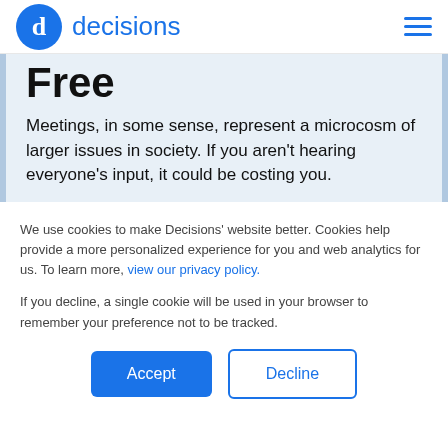decisions
Free
Meetings, in some sense, represent a microcosm of larger issues in society. If you aren't hearing everyone's input, it could be costing you.
We use cookies to make Decisions' website better. Cookies help provide a more personalized experience for you and web analytics for us. To learn more, view our privacy policy.
If you decline, a single cookie will be used in your browser to remember your preference not to be tracked.